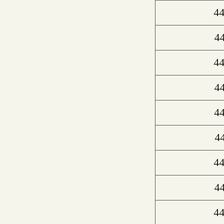| Part Number | Description |
| --- | --- |
| 445A35D24M57600 | CTS-Frequency C |
| 445A35E24M57600 | CTS-Frequency C |
| 445A35K24M57600 | CTS-Frequency C |
| 445A35L24M57600 | CTS-Frequency C |
| 445A35C24M57600 | CTS-Frequency C |
| 445A35S25M00000 | CTS-Frequency C |
| 445A35D25M00000 | CTS-Frequency C |
| 445A35E25M00000 | CTS-Frequency C |
| 445A35K25M00000 | CTS-Frequency C |
| 445A35L25M00000 | CTS-Frequency C |
| 445A35S27M00000 | CTS-Frequency C |
| 445A35A27M00000 | CTS-Frequency C |
| 445A35D27M00000 | CTS-Frequency C |
| 445A35E27M00000 | CTS-Frequency C |
| 445A35K27M00000 | CTS-Frequency C |